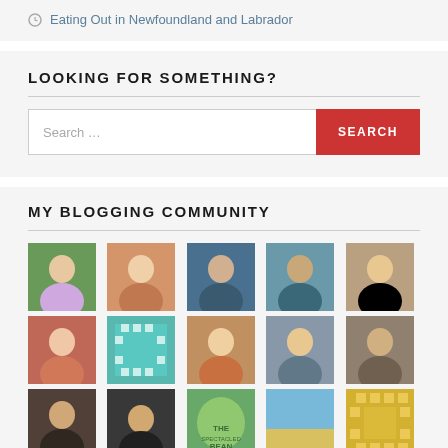Eating Out in Newfoundland and Labrador
LOOKING FOR SOMETHING?
[Figure (screenshot): Search bar with text input reading 'Search ...' and a red SEARCH button]
MY BLOGGING COMMUNITY
[Figure (photo): Grid of 15 blogger profile photos arranged in 3 rows of 5 columns]